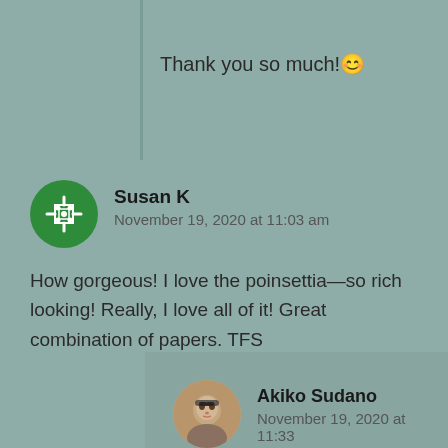Thank you so much! 😊
Susan K
November 19, 2020 at 11:03 am
How gorgeous! I love the poinsettia—so rich looking! Really, I love all of it! Great combination of papers. TFS
Akiko Sudano
November 19, 2020 at 11:33